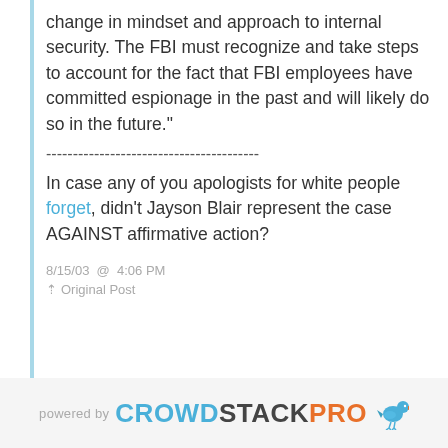change in mindset and approach to internal security. The FBI must recognize and take steps to account for the fact that FBI employees have committed espionage in the past and will likely do so in the future."
----------------------------------------
In case any of you apologists for white people forget, didn't Jayson Blair represent the case AGAINST affirmative action?
8/15/03  @  4:06 PM
Original Post
[Figure (logo): powered by CROWDSTACKPRO logo with bird icon]